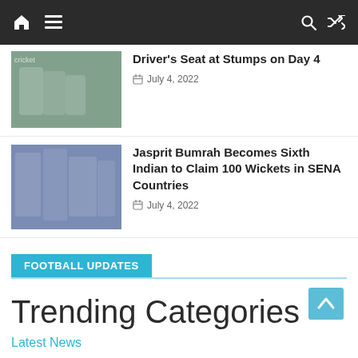Navigation bar with home, menu, search, and shuffle icons
Driver's Seat at Stumps on Day 4 — July 4, 2022
Jasprit Bumrah Becomes Sixth Indian to Claim 100 Wickets in SENA Countries — July 4, 2022
FOOTBALL UPDATES
Trending Categories
Latest News